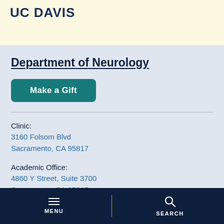UC Davis
Department of Neurology
Make a Gift
Clinic:
3160 Folsom Blvd
Sacramento, CA 95817
Academic Office:
4860 Y Street, Suite 3700
Sacramento, CA 95817
MENU  SEARCH